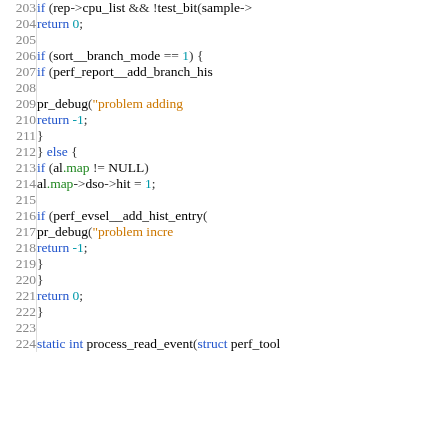[Figure (screenshot): Source code screenshot showing C code lines 203-224, syntax highlighted with line numbers on the left. Keywords in blue, string literals in orange, numbers in teal, member accesses in green.]